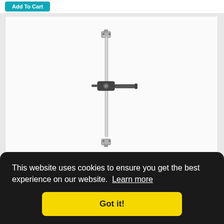[Figure (screenshot): Add To Cart button (teal/cyan colored button)]
[Figure (photo): Product photo of a side door bar lock assembly with 36 inch pipe - a vertical metal bar with a horizontal handle/lock mechanism in the middle]
28102 - SIDE DOOR BAR LOCK ASSEMBLY W/36" PIPE
SKU 28102 - 3057-36
$32.49
This website uses cookies to ensure you get the best experience on our website. Learn more
Got it!